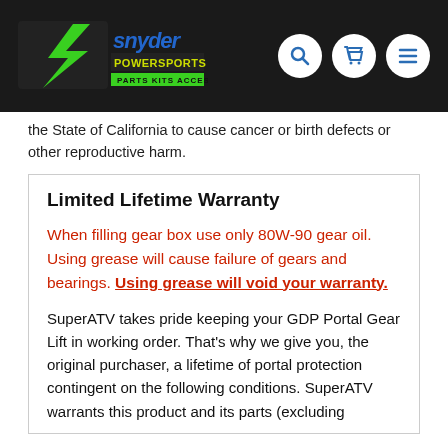Snyder Powersports - Parts, Kits & Accessories
the State of California to cause cancer or birth defects or other reproductive harm.
Limited Lifetime Warranty
When filling gear box use only 80W-90 gear oil. Using grease will cause failure of gears and bearings. Using grease will void your warranty.
SuperATV takes pride keeping your GDP Portal Gear Lift in working order. That's why we give you, the original purchaser, a lifetime of portal protection contingent on the following conditions. SuperATV warrants this product and its parts (excluding